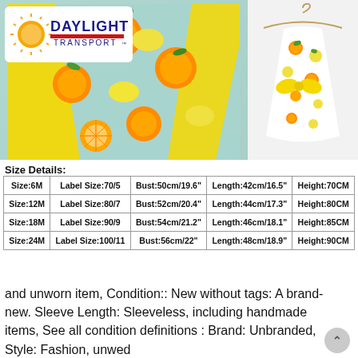[Figure (photo): Product photo of a children's citrus-print sleeveless dress shown from two angles: left shows close-up of orange and lemon fabric print on light blue/mint background, right shows full dress on hanger with yellow bow]
[Figure (logo): Daylight Transport logo with sun graphic, red and blue text]
Size Details:
| Size | Label Size | Bust | Length | Height |
| --- | --- | --- | --- | --- |
| Size:6M | Label Size:70/5 | Bust:50cm/19.6" | Length:42cm/16.5" | Height:70CM |
| Size:12M | Label Size:80/7 | Bust:52cm/20.4" | Length:44cm/17.3" | Height:80CM |
| Size:18M | Label Size:90/9 | Bust:54cm/21.2" | Length:46cm/18.1" | Height:85CM |
| Size:24M | Label Size:100/11 | Bust:56cm/22" | Length:48cm/18.9" | Height:90CM |
and unworn item, Condition:: New without tags: A brand-new. Sleeve Length: Sleeveless, including handmade items, See all condition definitions : Brand: Unbranded, Style: Fashion, unwed